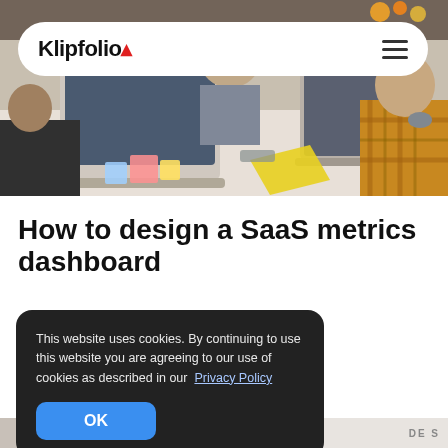[Figure (photo): Hero image showing people working at a table with laptops, sticky notes, and office supplies. A person in a yellow plaid shirt is visible on the right.]
[Figure (logo): Klipfolio logo in bold black text with a small red accent arrow, displayed in a white pill-shaped navigation bar with a hamburger menu icon on the right.]
How to design a SaaS metrics dashboard
This website uses cookies. By continuing to use this website you are agreeing to our use of cookies as described in our Privacy Policy
[Figure (screenshot): Bottom strip showing partial view of another image or document below the fold, with 'DES' text visible on the right.]